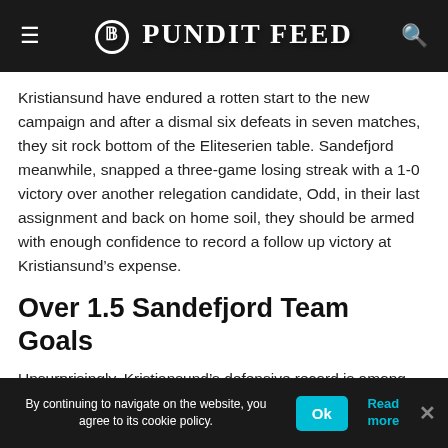Pundit Feed
Kristiansund have endured a rotten start to the new campaign and after a dismal six defeats in seven matches, they sit rock bottom of the Eliteserien table. Sandefjord meanwhile, snapped a three-game losing streak with a 1-0 victory over another relegation candidate, Odd, in their last assignment and back on home soil, they should be armed with enough confidence to record a follow up victory at Kristiansund’s expense.
Over 1.5 Sandefjord Team Goals
Unsurprisingly, Kristiansund’s defensive record is among the Eliteserien’s worst this season and they
By continuing to navigate on the website, you agree to its cookie policy.